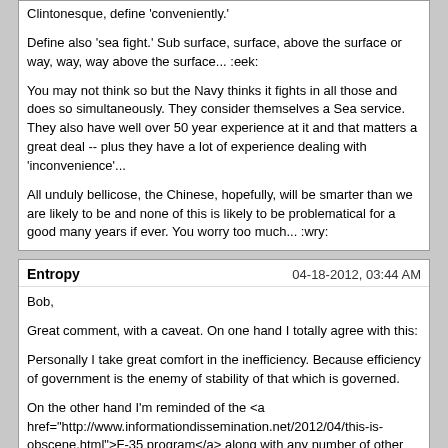Clintonesque, define 'conveniently.'

Define also 'sea fight.' Sub surface, surface, above the surface or way, way, way above the surface... :eek:

You may not think so but the Navy thinks it fights in all those and does so simultaneously. They consider themselves a Sea service. They also have well over 50 year experience at it and that matters a great deal -- plus they have a lot of experience dealing with 'inconvenience'...

All unduly bellicose, the Chinese, hopefully, will be smarter than we are likely to be and none of this is likely to be problematical for a good many years if ever. You worry too much... :wry:
Entropy   04-18-2012, 03:44 AM
Bob,

Great comment, with a caveat. On one hand I totally agree with this:

Personally I take great comfort in the inefficiency. Because efficiency of government is the enemy of stability of that which is governed.

On the other hand I'm reminded of the <a href="http://www.informationdissemination.net/2012/04/this-is-obscene.html">F-35 program</a> along with any number of other boondoggles and plenty of example of waste personally witnessed by me.

Anyway, the gist of your comment seems to be that the US needs more federalism.
Ray   04-18-2012, 04:45 AM
This is what Ray misses as well with his condemnation of our politicians and political structures.